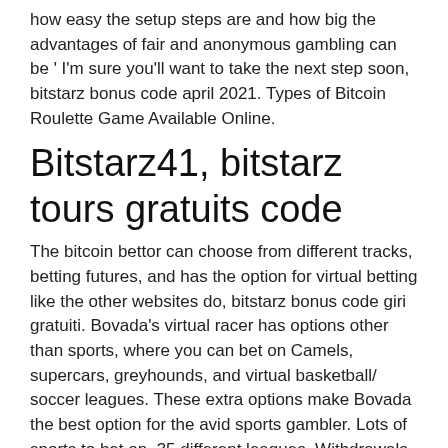how easy the setup steps are and how big the advantages of fair and anonymous gambling can be ' I'm sure you'll want to take the next step soon, bitstarz bonus code april 2021. Types of Bitcoin Roulette Game Available Online.
Bitstarz41, bitstarz tours gratuits code
The bitcoin bettor can choose from different tracks, betting futures, and has the option for virtual betting like the other websites do, bitstarz bonus code giri gratuiti. Bovada's virtual racer has options other than sports, where you can bet on Camels, supercars, greyhounds, and virtual basketball/ soccer leagues. These extra options make Bovada the best option for the avid sports gambler. Lots of sports to bet on, 35 different leagues. Withdrawals are processed as soon as they are requested, bitstarz bonus code giri